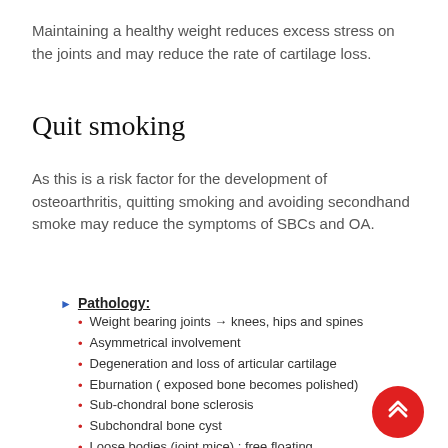Maintaining a healthy weight reduces excess stress on the joints and may reduce the rate of cartilage loss.
Quit smoking
As this is a risk factor for the development of osteoarthritis, quitting smoking and avoiding secondhand smoke may reduce the symptoms of SBCs and OA.
Pathology:
Weight bearing joints → knees, hips and spines
Asymmetrical involvement
Degeneration and loss of articular cartilage
Eburnation ( exposed bone becomes polished)
Sub-chondral bone sclerosis
Subchondral bone cyst
Loose bodies (joint mice) : free floating fragments of cartilages and bone
Osteophytes (bone spurs): reactive boney outgrowth